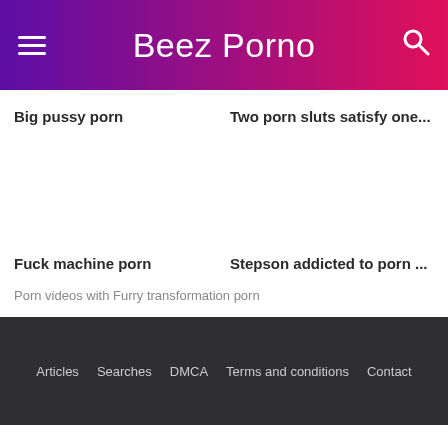Beez Porno
Big pussy porn
Two porn sluts satisfy one...
Fuck machine porn
Stepson addicted to porn ...
Porn videos with Furry transformation porn
Articles  Searches  DMCA  Terms and conditions  Contact